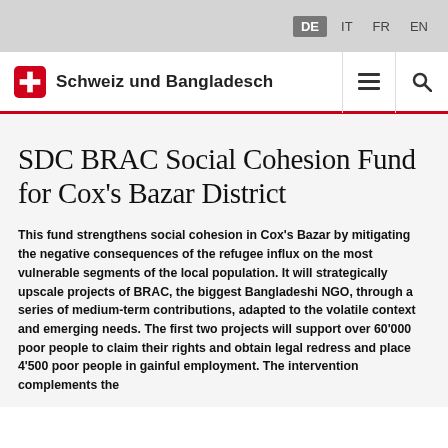DE  IT  FR  EN
Schweiz und Bangladesch
SDC BRAC Social Cohesion Fund for Cox’s Bazar District
This fund strengthens social cohesion in Cox’s Bazar by mitigating the negative consequences of the refugee influx on the most vulnerable segments of the local population. It will strategically upscale projects of BRAC, the biggest Bangladeshi NGO, through a series of medium-term contributions, adapted to the volatile context and emerging needs. The first two projects will support over 60’000 poor people to claim their rights and obtain legal redress and place 4’500 poor people in gainful employment. The intervention complements the support of Swiss Humanitarian Aid.